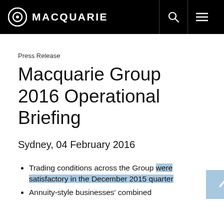MACQUARIE
Press Release
Macquarie Group 2016 Operational Briefing
Sydney, 04 February 2016
Trading conditions across the Group were satisfactory in the December 2015 quarter
Annuity-style businesses' combined